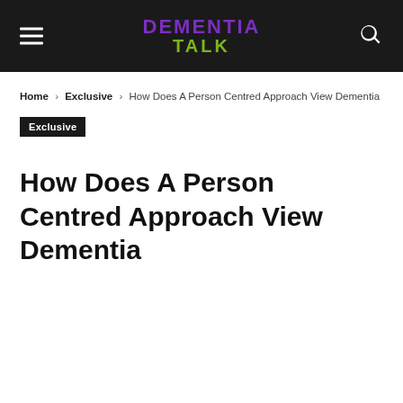DEMENTIA TALK
Home › Exclusive › How Does A Person Centred Approach View Dementia
Exclusive
How Does A Person Centred Approach View Dementia